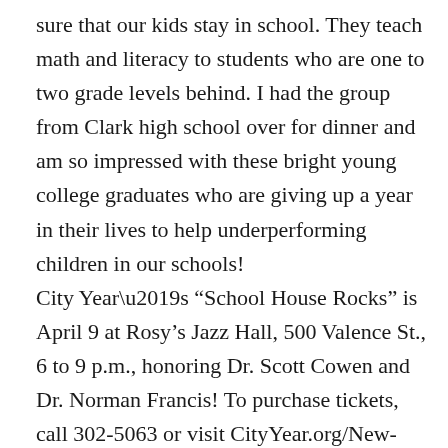sure that our kids stay in school. They teach math and literacy to students who are one to two grade levels behind. I had the group from Clark high school over for dinner and am so impressed with these bright young college graduates who are giving up a year in their lives to help underperforming children in our schools! City Year’s “School House Rocks” is April 9 at Rosy’s Jazz Hall, 500 Valence St., 6 to 9 p.m., honoring Dr. Scott Cowen and Dr. Norman Francis! To purchase tickets, call 302-5063 or visit CityYear.org/New-Orleans/Events/School-House-Rock.